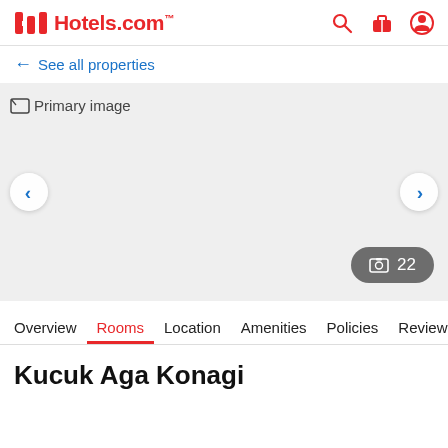Hotels.com
← See all properties
[Figure (photo): Primary image placeholder for hotel photo carousel with navigation arrows and photo count badge showing 22 photos]
Overview | Rooms | Location | Amenities | Policies | Reviews
Kucuk Aga Konagi